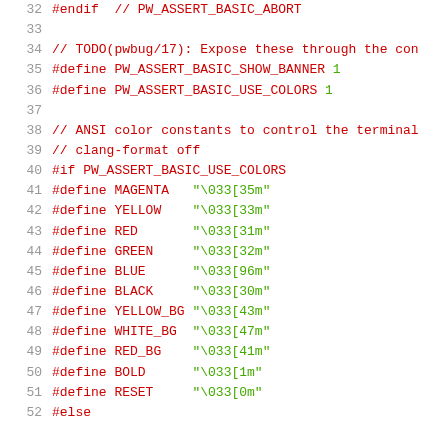[Figure (screenshot): Source code listing in C/C++ showing lines 32-52 with line numbers, preprocessor directives in red and string literals in green on white background.]